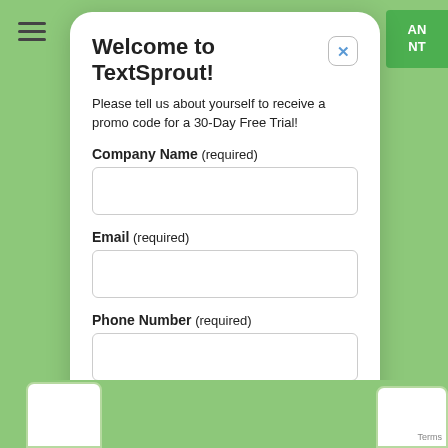Welcome to TextSprout!
Please tell us about yourself to receive a promo code for a 30-Day Free Trial!
Company Name (required)
Email (required)
Phone Number (required)
SUBMIT